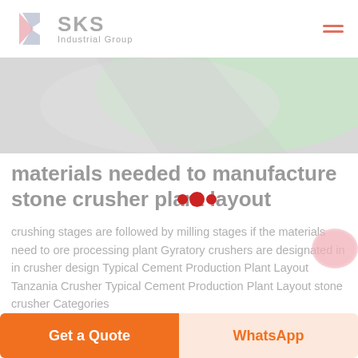[Figure (logo): SKS Industrial Group logo with stylized K and SKS text in grey]
[Figure (photo): Abstract green and grey textured hero image]
materials needed to manufacture stone crusher plant layout
crushing stages are followed by milling stages if the materials need to ore processing plant Gyratory crushers are designated in in crusher design Typical Cement Production Plant Layout Tanzania Crusher Typical Cement Production Plant Layout stone crusher Categories
Get a Quote | WhatsApp